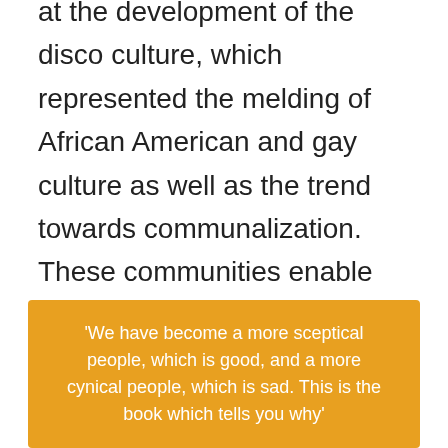at the development of the disco culture, which represented the melding of African American and gay culture as well as the trend towards communalization. These communities enable gay men and women, he concludes, the space they needed in order to reinvent themselves and their communities.
'We have become a more sceptical people, which is good, and a more cynical people, which is sad. This is the book which tells you why'